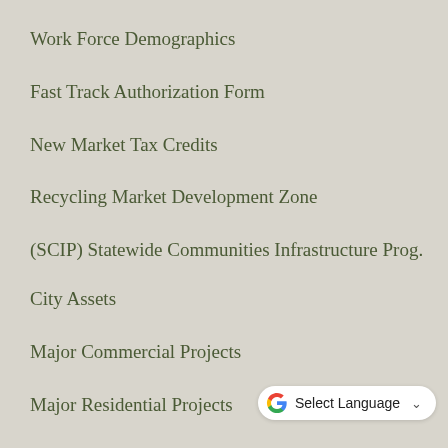Work Force Demographics
Fast Track Authorization Form
New Market Tax Credits
Recycling Market Development Zone
(SCIP) Statewide Communities Infrastructure Prog.
City Assets
Major Commercial Projects
Major Residential Projects